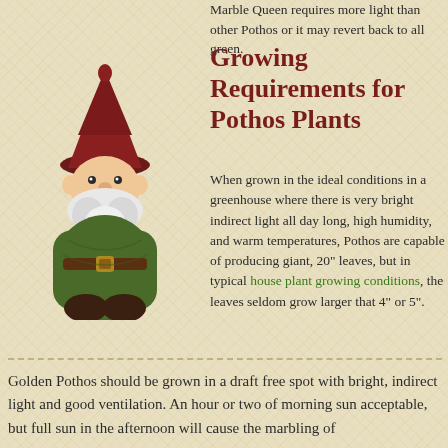Marble Queen requires more light than other Pothos or it may revert back to all green.
Growing Requirements for Pothos Plants
[Figure (photo): A ceramic garden gnome figurine wearing a red pointed hat and green coat with a brown belt, white beard, smiling face.]
When grown in the ideal conditions in a greenhouse where there is very bright indirect light all day long, high humidity, and warm temperatures, Pothos are capable of producing giant, 20" leaves, but in typical house plant growing conditions, the leaves seldom grow larger that 4" or 5".
Golden Pothos should be grown in a draft free spot with bright, indirect light and good ventilation. An hour or two of morning sun acceptable, but full sun in the afternoon will cause the marbling of